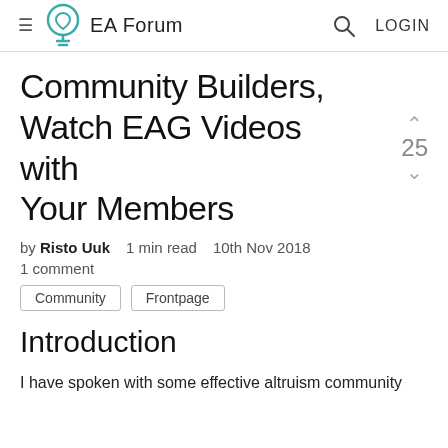EA Forum
Community Builders, Watch EAG Videos with Your Members
by Risto Uuk   1 min read   10th Nov 2018
1 comment
Community
Frontpage
Introduction
I have spoken with some effective altruism community